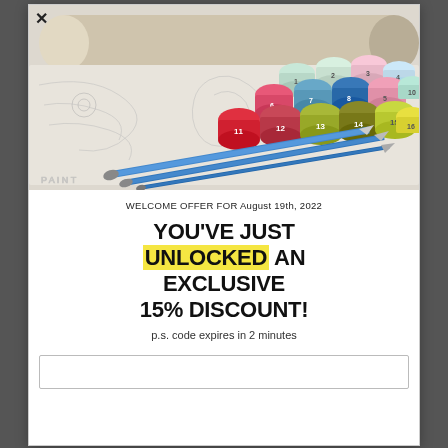[Figure (photo): Paint by numbers kit photo: rolled canvas, numbered paint pots in multiple colors, and blue paint brushes on a coloring sheet with pencil outlines]
WELCOME OFFER FOR August 19th, 2022
YOU'VE JUST UNLOCKED AN EXCLUSIVE 15% DISCOUNT!
p.s. code expires in 2 minutes
(partially visible code input box at bottom)